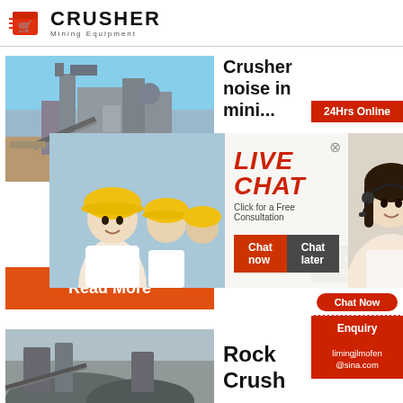[Figure (logo): CRUSHER Mining Equipment logo with red shopping bag icon]
[Figure (photo): Industrial crusher mining equipment machinery with blue sky background]
Crusher noise in mining in
[Figure (infographic): 24Hrs Online red banner]
[Figure (photo): Live Chat overlay with workers in yellow hard hats, LIVE CHAT text, Click for a Free Consultation, Chat now and Chat later buttons, headset lady]
Read More
Need questions & suggestion?
Chat Now
Enquiry
limingjlmofen@sina.com
[Figure (photo): Rock crusher machinery at mining site]
Rock Crush